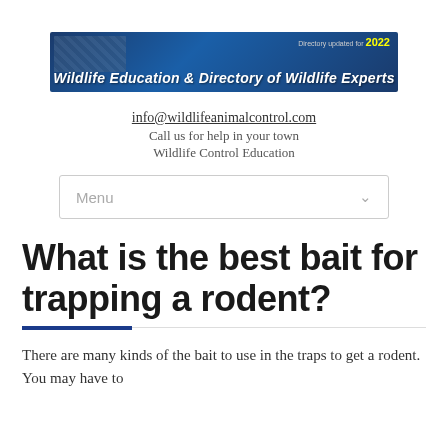[Figure (logo): Wildlife Education & Directory of Wildlife Experts banner with blue background, animal photos, and 'Directory updated for 2022' text]
info@wildlifeanimalcontrol.com
Call us for help in your town
Wildlife Control Education
Menu
What is the best bait for trapping a rodent?
There are many kinds of the bait to use in the traps to get a rodent. You may have to